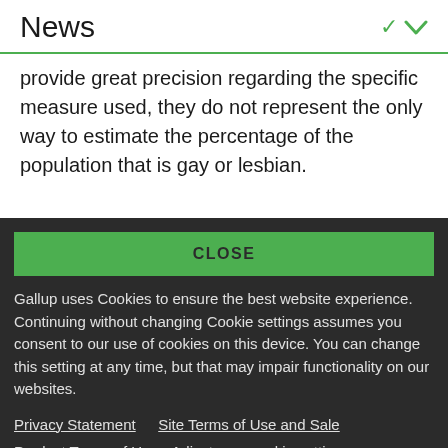News
provide great precision regarding the specific measure used, they do not represent the only way to estimate the percentage of the population that is gay or lesbian.
CLOSE
Gallup uses Cookies to ensure the best website experience. Continuing without changing Cookie settings assumes you consent to our use of cookies on this device. You can change this setting at any time, but that may impair functionality on our websites.
Privacy Statement   Site Terms of Use and Sale
Product Terms of Use   Adjust your cookie settings.